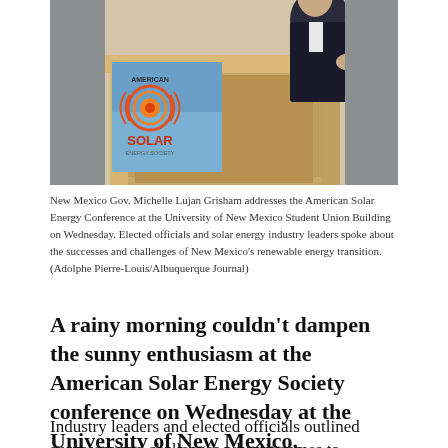[Figure (photo): New Mexico Gov. Michelle Lujan Grisham speaking at a podium at the American Solar Energy Conference. The podium has a banner for the American Solar Energy Society with its logo (circular sun design in orange/red). A person in a dark suit stands at the wooden podium.]
New Mexico Gov. Michelle Lujan Grisham addresses the American Solar Energy Conference at the University of New Mexico Student Union Building on Wednesday. Elected officials and solar energy industry leaders spoke about the successes and challenges of New Mexico's renewable energy transition. (Adolphe Pierre-Louis/Albuquerque Journal)
A rainy morning couldn't dampen the sunny enthusiasm at the American Solar Energy Society conference on Wednesday at the University of New Mexico.
Industry leaders and elected officials outlined successes and challenges when it comes to lowering